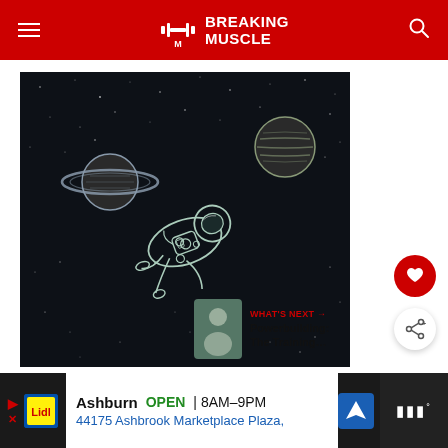Breaking Muscle
[Figure (illustration): Dark space illustration showing an astronaut floating in outer space with Saturn and another planet visible in the background, rendered as a line-art drawing on a dark starry background.]
WHAT'S NEXT → Powerbuilding: The Training…
Ashburn OPEN | 8AM–9PM 44175 Ashbrook Marketplace Plaza,